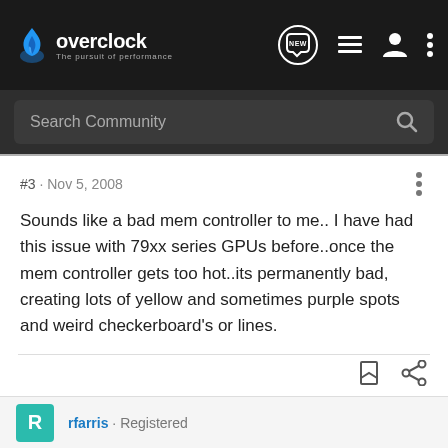overclock.net - The pursuit of performance
Search Community
#3 · Nov 5, 2008
Sounds like a bad mem controller to me.. I have had this issue with 79xx series GPUs before..once the mem controller gets too hot..its permanently bad, creating lots of yellow and sometimes purple spots and weird checkerboard's or lines.
rfarris · Registered